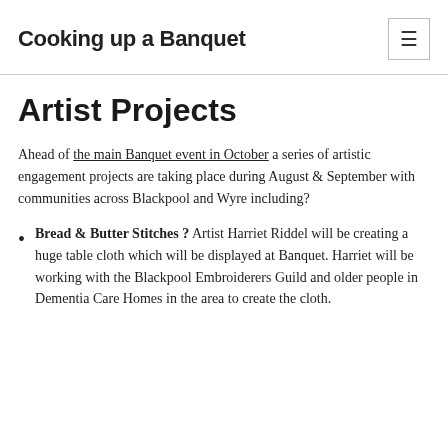Cooking up a Banquet
Artist Projects
Ahead of the main Banquet event in October a series of artistic engagement projects are taking place during August & September with communities across Blackpool and Wyre including?
Bread & Butter Stitches ? Artist Harriet Riddel will be creating a huge table cloth which will be displayed at Banquet. Harriet will be working with the Blackpool Embroiderers Guild and older people in Dementia Care Homes in the area to create the cloth.